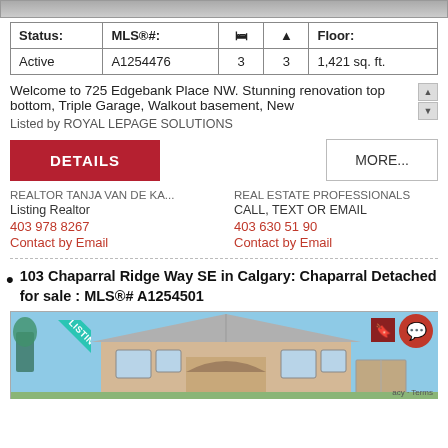[Figure (photo): Top strip showing partial property photo]
| Status: | MLS®#: | 🛏 | ▲ | Floor: |
| --- | --- | --- | --- | --- |
| Active | A1254476 | 3 | 3 | 1,421 sq. ft. |
Welcome to 725 Edgebank Place NW. Stunning renovation top to bottom, Triple Garage, Walkout basement, New
Listed by ROYAL LEPAGE SOLUTIONS
DETAILS
MORE...
REALTOR TANJA VAN DE KA...
Listing Realtor
403 978 8267
Contact by Email
REAL ESTATE PROFESSIONALS
CALL, TEXT OR EMAIL
403 630 51 90
Contact by Email
103 Chaparral Ridge Way SE in Calgary: Chaparral Detached for sale : MLS®# A1254501
[Figure (photo): Photo of house at 103 Chaparral Ridge Way SE, a beige stucco home with NEW LISTING banner]